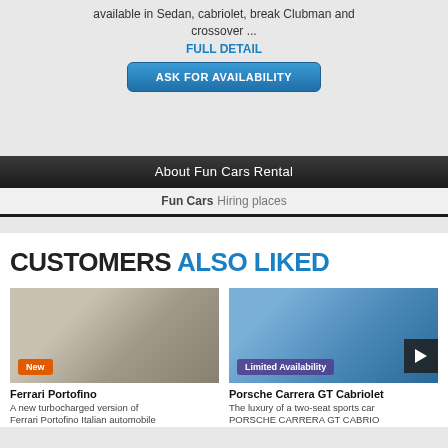available in Sedan, cabriolet, break Clubman and crossover ...
FULL DETAIL
ASK FOR AVAILABILITY
About Fun Cars Rental
Fun Cars Hiring places
CUSTOMERS ALSO LIKED
[Figure (photo): Red Ferrari Portofino sports car parked near rocky terrain with badge 'New']
Ferrari Portofino
A new turbocharged version of Ferrari Portofino Italian automobile
[Figure (photo): Blue Porsche Carrera GT Cabriolet on coastal road with badge 'Limited Availability']
Porsche Carrera GT Cabriolet
The luxury of a two-seat sports car PORSCHE CARRERA GT CABRIO